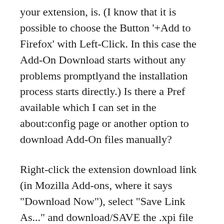your extension, is. (I know that it is possible to choose the Button '+Add to Firefox' with Left-Click. In this case the Add-On Download starts without any problems promptlyand the installation process starts directly.) Is there a Pref available which I can set in the about:config page or another option to download Add-On files manually?
Right-click the extension download link (in Mozilla Add-ons, where it says "Download Now"), select "Save Link As..." and download/SAVE the .xpi file to your computer in a location where you can find it later for step 1 or 2 below. Then you can do one of the following: Incident summary. Updates – Last updated 14:35 PST May 14, 2019.